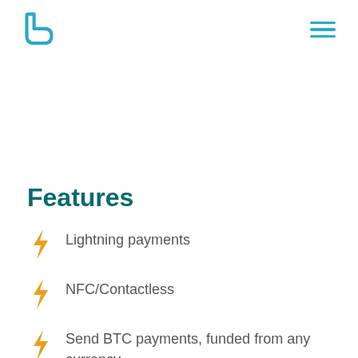[CoinCorner logo] [hamburger menu]
Features
Lightning payments
NFC/Contactless
Send BTC payments, funded from any currency
Easy setup via CoinCorner app